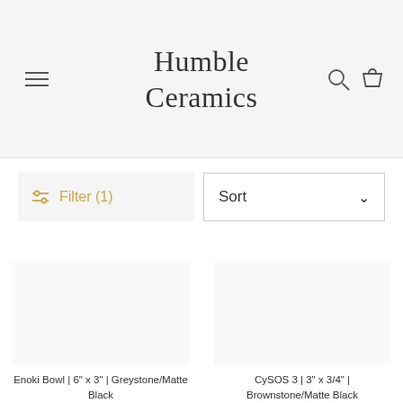Humble Ceramics
Filter (1)
Sort
Enoki Bowl | 6" x 3" | Greystone/Matte Black
$95.00
Sold Out
CySOS 3 | 3" x 3/4" | Brownstone/Matte Black
$35.00
Sold Out